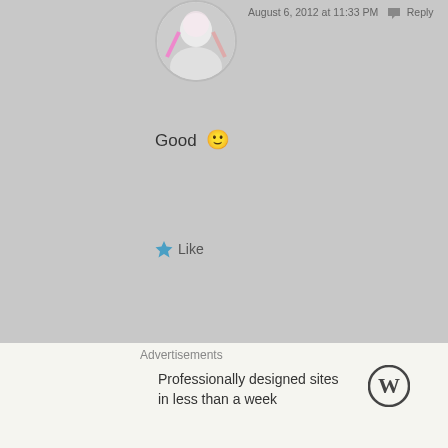[Figure (photo): User avatar/profile picture circle for commenter shentryheardonce]
August 6, 2012 at 11:33 PM  Reply
Good 🙂
★ Like
Advertisements
[Figure (screenshot): WordPress advertisement banner with dark navy background. Shows WordPress (W) logo in top right. Text reads: 'Opinions. We all have them!' in white serif font.]
Advertisements
Professionally designed sites in less than a week